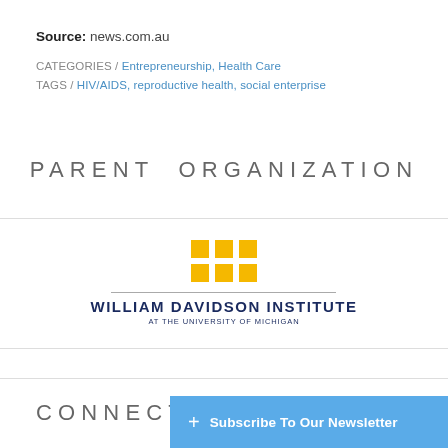Source: news.com.au
CATEGORIES / Entrepreneurship, Health Care
TAGS / HIV/AIDS, reproductive health, social enterprise
PARENT ORGANIZATION
[Figure (logo): William Davidson Institute at the University of Michigan logo — yellow 3×2 grid of squares above horizontal rules and institution name]
CONNECT
+ Subscribe To Our Newsletter